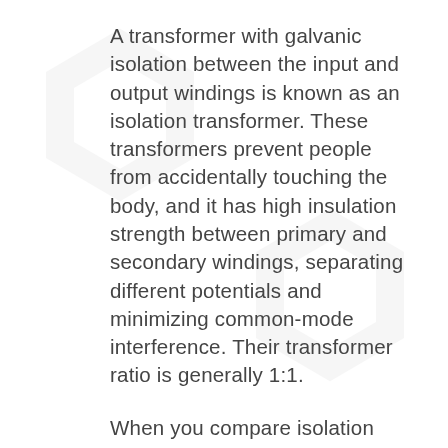A transformer with galvanic isolation between the input and output windings is known as an isolation transformer. These transformers prevent people from accidentally touching the body, and it has high insulation strength between primary and secondary windings, separating different potentials and minimizing common-mode interference. Their transformer ratio is generally 1:1.
When you compare isolation transformers with step-up transformers and step-down transformers, you will notice some prominent differences. For example, it